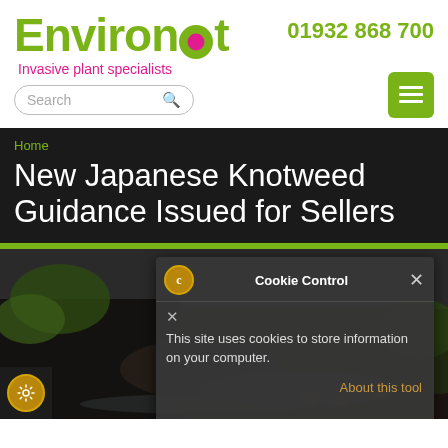[Figure (logo): Environet logo with green text and pink dot in the 'o', tagline 'Invasive plant specialists' in pink cursive, search bar below]
01932 868 700
[Figure (other): Green hamburger menu button]
Home
New Japanese Knotweed Guidance Issued for Sellers
[Figure (photo): Photo of Japanese knotweed plant/roots in soil, partially obscured by cookie popup]
Cookie Control
This site uses cookies to store information on your computer.
About this tool
read more